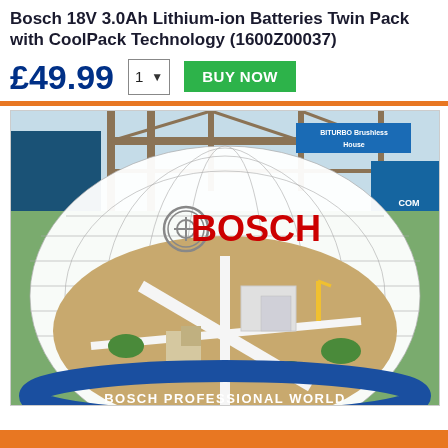Bosch 18V 3.0Ah Lithium-ion Batteries Twin Pack with CoolPack Technology (1600Z00037)
£49.99
[Figure (photo): Bosch Professional World promotional image showing a large dome-shaped structure with a construction site aerial view inside, with 'BOSCH' logo and 'BOSCH PROFESSIONAL WORLD' text, and a 'BITURBO Brushless House' sign in the background.]